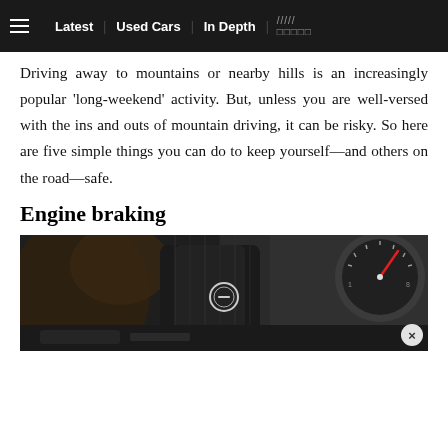≡  Latest | Used Cars | In Depth | /////  □□□□□
Driving away to mountains or nearby hills is an increasingly popular ‘long-weekend’ activity. But, unless you are well-versed with the ins and outs of mountain driving, it can be risky. So here are five simple things you can do to keep yourself—and others on the road—safe.
Engine braking
[Figure (photo): Close-up photo of a car interior showing gear shifter paddles on steering wheel and dashboard gauges including a tachometer with red needle. Dark carbon fiber and leather interior tones. A close button (×) appears in the bottom right corner.]